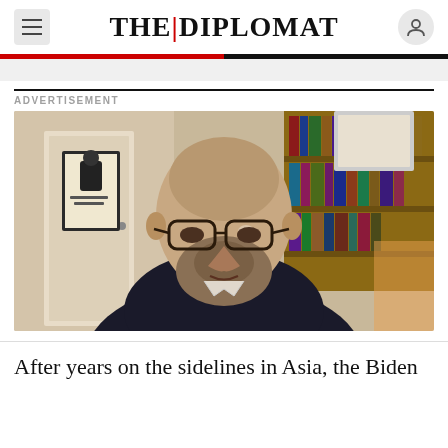THE DIPLOMAT
ADVERTISEMENT
[Figure (photo): Bald man with beard and glasses speaking on video call, bookshelf and framed poster visible in background]
After years on the sidelines in Asia, the Biden